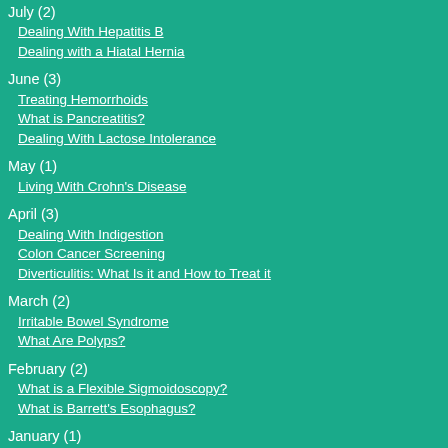July (2)
Dealing With Hepatitis B
Dealing with a Hiatal Hernia
June (3)
Treating Hemorrhoids
What is Pancreatitis?
Dealing With Lactose Intolerance
May (1)
Living With Crohn's Disease
April (3)
Dealing With Indigestion
Colon Cancer Screening
Diverticulitis: What Is it and How to Treat it
March (2)
Irritable Bowel Syndrome
What Are Polyps?
February (2)
What is a Flexible Sigmoidoscopy?
What is Barrett's Esophagus?
January (1)